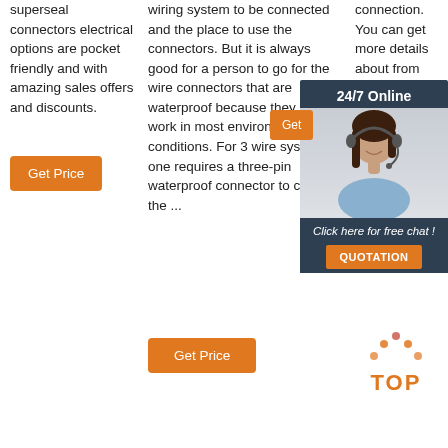superseal connectors electrical options are pocket friendly and with amazing sales offers and discounts.
Get Price
wiring system to be connected and the place to use the connectors. But it is always good for a person to go for the wire connectors that are waterproof because they can work in most environmental conditions. For 3 wire systems, one requires a three-pin waterproof connector to connect the ...
Get Price
connection. You can get more details about from mobile site on m.alibaba.com
[Figure (infographic): 24/7 Online customer service chat advertisement box with dark blue background, orange Get button, photo of a woman with headset, italic text 'Click here for free chat!', and orange QUOTATION button]
[Figure (logo): Orange and dark red TOP arrow logo mark with dots]